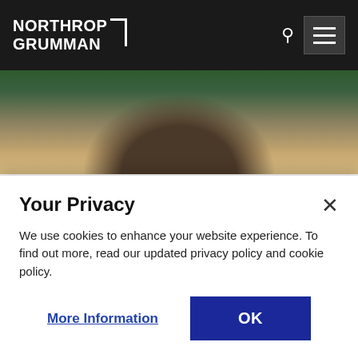NORTHROP GRUMMAN
[Figure (photo): Photo of a smiling man in a classroom or lab setting with workstations and orange chairs in the background]
The Northrop Grumman program that turns personal passions into professional development After a fire nearly destroyed the Notre Dame Cathedral in Paris in 2019, Yaakov was surprised to hear on the news that the most accurate digital rendering ever created of the ancient Parisian church was for a video game he had played: Assassin’s Creed: [...]
Your Privacy
We use cookies to enhance your website experience. To find out more, read our updated privacy policy and cookie policy.
More Information  OK